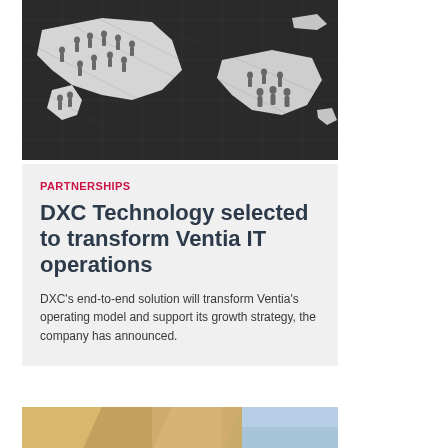[Figure (photo): 3D illustration of dark silhouette figures of people standing on a white paper-cut map of continents, on a dark grid background, representing global workforce or partnerships.]
PARTNERSHIPS
DXC Technology selected to transform Ventia IT operations
DXC's end-to-end solution will transform Ventia's operating model and support its growth strategy, the company has announced.
[Figure (photo): Partial view of a second image at the bottom of the page, appears to show wooden or paper objects in warm tones.]